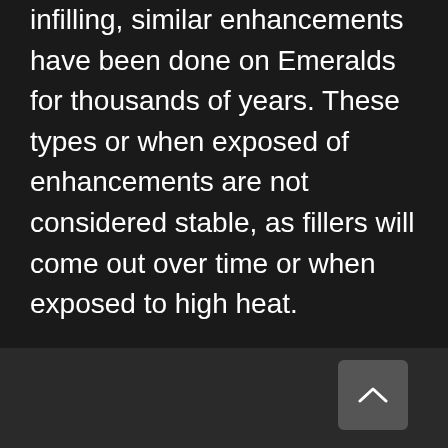infilling, similar enhancements have been done on Emeralds for thousands of years. These types or when exposed of enhancements are not considered stable, as fillers will come out over time or when exposed to high heat.
Emerald is the birthstone of May.
[Figure (other): Scroll-to-top button with upward chevron arrow, dark gray rounded square button in the footer area]